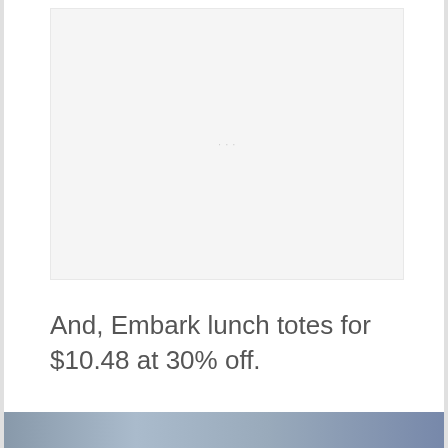[Figure (photo): Light gray placeholder image area, likely a product photo that did not load]
And, Embark lunch totes for $10.48 at 30% off.
[Figure (photo): Partial photo strip at the bottom of the page, showing colorful imagery]